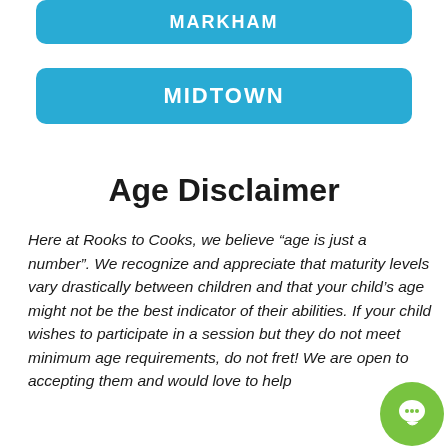MARKHAM
MIDTOWN
Age Disclaimer
Here at Rooks to Cooks, we believe “age is just a number”. We recognize and appreciate that maturity levels vary drastically between children and that your child’s age might not be the best indicator of their abilities. If your child wishes to participate in a session but they do not meet minimum age requirements, do not fret! We are open to accepting them and would love to help